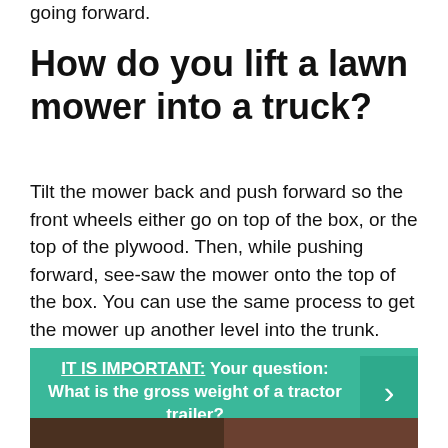going forward.
How do you lift a lawn mower into a truck?
Tilt the mower back and push forward so the front wheels either go on top of the box, or the top of the plywood. Then, while pushing forward, see-saw the mower onto the top of the box. You can use the same process to get the mower up another level into the trunk. This process will take little effort.
IT IS IMPORTANT: Your question: What is the gross weight of a tractor trailer?
[Figure (photo): Bottom strip showing partial photo of what appears to be a truck or trailer, split into two sections]